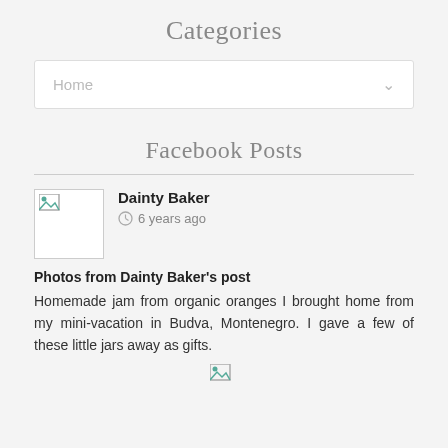Categories
[Figure (screenshot): Dropdown selector showing 'Home' with a chevron/arrow on the right, inside a white bordered box]
Facebook Posts
[Figure (screenshot): Facebook post header with broken image avatar thumbnail, author name 'Dainty Baker', and timestamp '6 years ago' with a clock icon]
Photos from Dainty Baker's post
Homemade jam from organic oranges I brought home from my mini-vacation in Budva, Montenegro. I gave a few of these little jars away as gifts.
[Figure (photo): Broken image thumbnail at bottom of post]